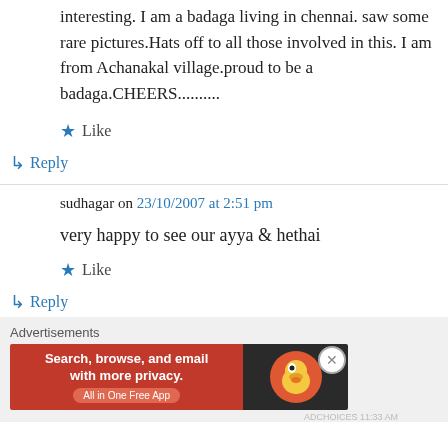interesting. I am a badaga living in chennai. saw some rare pictures.Hats off to all those involved in this. I am from Achanakal village.proud to be a badaga.CHEERS..........
★ Like
↳ Reply
sudhagar on 23/10/2007 at 2:51 pm
very happy to see our ayya & hethai
★ Like
↳ Reply
Advertisements
[Figure (screenshot): DuckDuckGo advertisement banner: orange left side with text 'Search, browse, and email with more privacy. All in One Free App', dark right side with DuckDuckGo duck logo.]